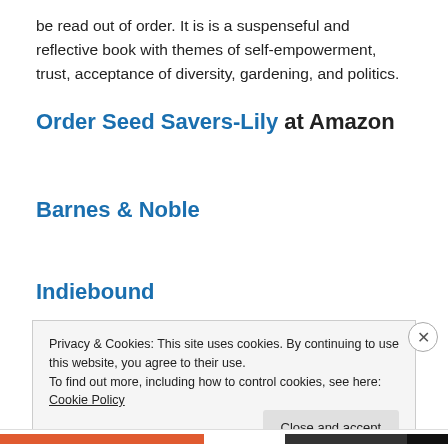be read out of order. It is is a suspenseful and reflective book with themes of self-empowerment, trust, acceptance of diversity, gardening, and politics.
Order Seed Savers-Lily at Amazon
Barnes & Noble
Indiebound
Privacy & Cookies: This site uses cookies. By continuing to use this website, you agree to their use.
To find out more, including how to control cookies, see here: Cookie Policy
Close and accept